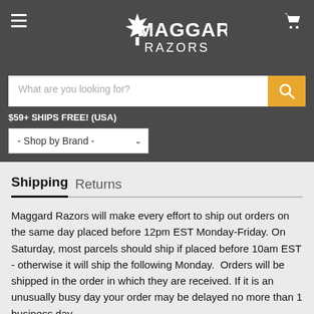[Figure (logo): Maggard Razors logo with maple leaf, white text on dark gray header background]
What are you looking for?
$59+ SHIPS FREE! (USA)
- Shop by Brand -
Shipping   Returns
Maggard Razors will make every effort to ship out orders on the same day placed before 12pm EST Monday-Friday. On Saturday, most parcels should ship if placed before 10am EST - otherwise it will ship the following Monday.  Orders will be shipped in the order in which they are received. If it is an unusually busy day your order may be delayed no more than 1 business day.